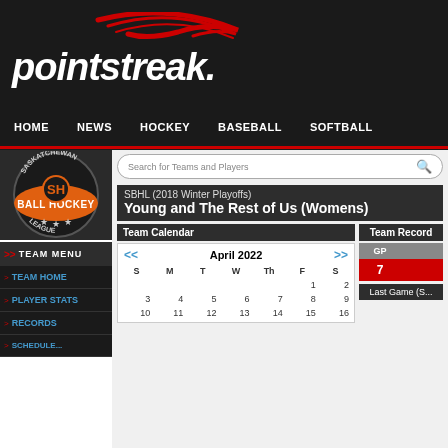[Figure (logo): Pointstreak sports logo with red swoosh on dark background]
HOME  NEWS  HOCKEY  BASEBALL  SOFTBALL
[Figure (logo): Saskatchewan Ball Hockey League circular badge logo]
TEAM MENU
TEAM HOME
PLAYER STATS
RECORDS
Search for Teams and Players
SBHL (2018 Winter Playoffs)
Young and The Rest of Us (Womens)
Team Calendar
| S | M | T | W | Th | F | S |
| --- | --- | --- | --- | --- | --- | --- |
|  |  |  |  |  | 1 | 2 |
| 3 | 4 | 5 | 6 | 7 | 8 | 9 |
| 10 | 11 | 12 | 13 | 14 | 15 | 16 |
Team Record
| GP |  |
| --- | --- |
| 7 |  |
Last Game (S...